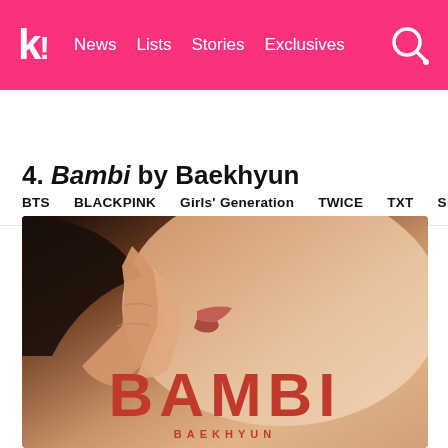k! News  Lists  Stories  Exclusives
BTS  BLACKPINK  Girls' Generation  TWICE  TXT  SEVE
4. Bambi by Baekhyun
[Figure (photo): Album cover for Bambi by Baekhyun showing a close-up of a person's face and hand with large red BAMBI text and BAEKHYUN text at the bottom]